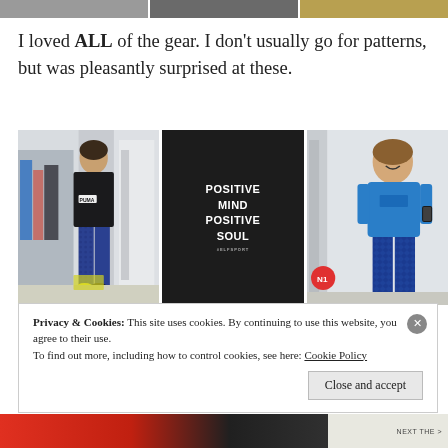[Figure (photo): Top strip of three cropped images from a previous section]
I loved ALL of the gear. I don't usually go for patterns, but was pleasantly surprised at these.
[Figure (photo): Three photos side by side: (1) person wearing Puma black outfit with patterned blue leggings in a changing room, (2) close-up of black sweatshirt reading 'POSITIVE MIND POSITIVE SOUL' with #ELFSPORT, (3) person in blue t-shirt and patterned blue leggings taking mirror selfie]
Privacy & Cookies: This site uses cookies. By continuing to use this website, you agree to their use. To find out more, including how to control cookies, see here: Cookie Policy
Close and accept